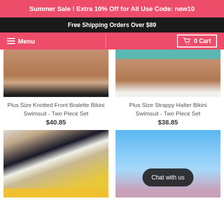Summer Sale ! Extra 10% Off for All Use Code: new10
Free Shipping Orders Over $89
Menu | 0 Cart
[Figure (photo): Plus size model wearing black knotted front bralette bikini bottom, cropped lower body view]
[Figure (photo): Plus size model wearing strappy halter white bikini bottom, cropped lower body view with teal background]
Plus Size Knotted Front Bralette Bikini Swimsuit - Two Piece Set
$40.85
Plus Size Strappy Halter Bikini Swimsuit - Two Piece Set
$38.85
[Figure (photo): Model wearing floral print mesh long-sleeve crop top with yellow waistband]
[Figure (photo): Plus size model posing with arm raised against blue sky background wearing floral swimsuit, with Chat with us button overlay]
Chat with us